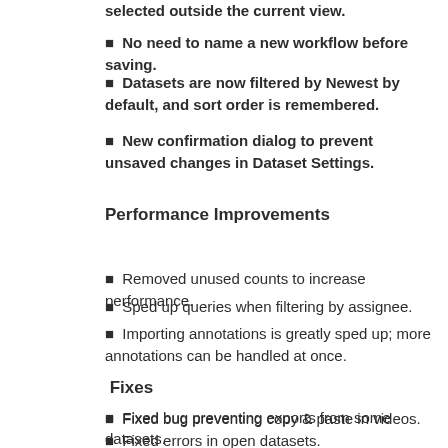selected outside the current view.
No need to name a new workflow before saving.
Datasets are now filtered by Newest by default, and sort order is remembered.
New confirmation dialog to prevent unsaved changes in Dataset Settings.
Performance Improvements
Removed unused counts to increase performance.
Sped up queries when filtering by assignee.
Importing annotations is greatly sped up; more annotations can be handled at once.
Fixes
Fixed bug preventing copy & paste in videos.
Fixed errors in open datasets.
Fixed bug preventing exports from some datasets.